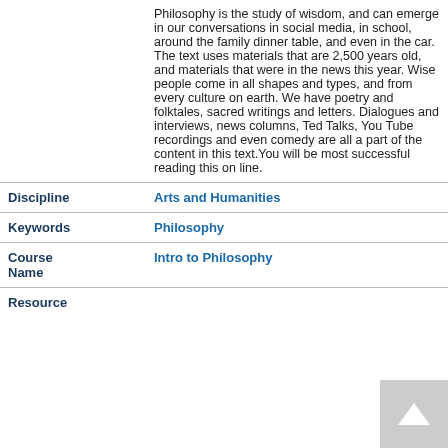| Field | Value |
| --- | --- |
|  | Philosophy is the study of wisdom, and can emerge in our conversations in social media, in school, around the family dinner table, and even in the car. The text uses materials that are 2,500 years old, and materials that were in the news this year. Wise people come in all shapes and types, and from every culture on earth. We have poetry and folktales, sacred writings and letters. Dialogues and interviews, news columns, Ted Talks, You Tube recordings and even comedy are all a part of the content in this text.You will be most successful reading this on line. |
| Discipline | Arts and Humanities |
| Keywords | Philosophy |
| Course Name | Intro to Philosophy |
| Resource |  |